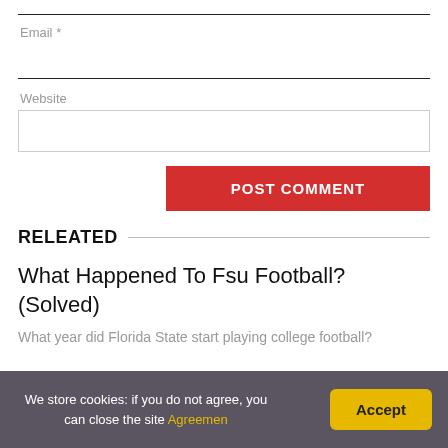Email *
Website
POST COMMENT
RELEATED
What Happened To Fsu Football? (Solved)
What year did Florida State start playing college football?
We store cookies: if you do not agree, you can close the site Agreemen
Accept